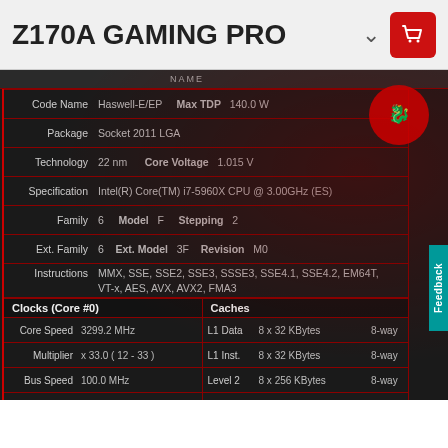Z170A GAMING PRO
[Figure (screenshot): CPU-Z software screenshot showing processor specifications for Intel Core i7-5960X. Displays Code Name: Haswell-E/EP, Max TDP: 140.0 W, Package: Socket 2011 LGA, Technology: 22 nm, Core Voltage: 1.015 V, Specification: Intel(R) Core(TM) i7-5960X CPU @ 3.00GHz (ES), Family: 6, Model: F, Stepping: 2, Ext. Family: 6, Ext. Model: 3F, Revision: M0, Instructions: MMX, SSE, SSE2, SSE3, SSSE3, SSE4.1, SSE4.2, EM64T, VT-x, AES, AVX, AVX2, FMA3. Clocks Core #0: Core Speed 3299.2 MHz, Multiplier x33.0 (12-33), Bus Speed 100.0 MHz, Rated FSB. Caches: L1 Data 8x32 KBytes 8-way, L1 Inst. 8x32 KBytes 8-way, Level 2 8x256 KBytes 8-way, Level 3 20 MBytes 20-way. Processor #1 selected, Cores 8, Threads 16.]
Version 1.72.1
MSI
Certified Series